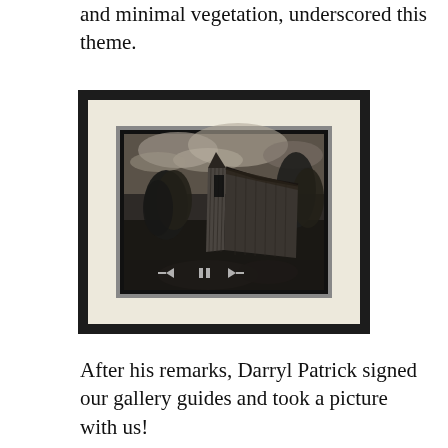and minimal vegetation, underscored this theme.
[Figure (photo): A framed black-and-white photograph displayed on a wall. The photo shows an abandoned wooden barn or house structure with trees surrounding it, under a dramatic cloudy sky. The image is shown in a black frame with a cream/off-white mat. Navigation controls (left arrow, pause, right arrow) are visible at the bottom of the photo, suggesting a slideshow interface.]
After his remarks, Darryl Patrick signed our gallery guides and took a picture with us!